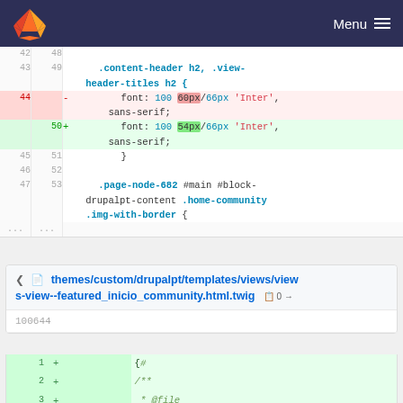GitLab — Menu
[Figure (screenshot): Diff view of CSS file showing line 44 deleted (font: 100 60px/66px 'Inter', sans-serif;) and line 50 added (font: 100 54px/66px 'Inter', sans-serif;), with surrounding context lines 42-47 (old) / 48-53 (new).]
themes/custom/drupalpt/templates/views/views-view--featured_inicio_community.html.twig  0 → 100644
[Figure (screenshot): Diff view of .html.twig file, lines 1-3 added: + {# + /** + * @file]